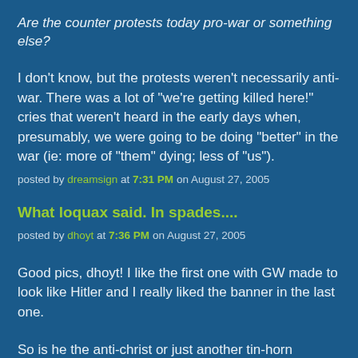Are the counter protests today pro-war or something else?
I don't know, but the protests weren't necessarily anti-war. There was a lot of "we're getting killed here!" cries that weren't heard in the early days when, presumably, we were going to be doing "better" in the war (ie: more of "them" dying; less of "us").
posted by dreamsign at 7:31 PM on August 27, 2005
What loquax said. In spades....
posted by dhoyt at 7:36 PM on August 27, 2005
Good pics, dhoyt! I like the first one with GW made to look like Hitler and I really liked the banner in the last one.
So is he the anti-christ or just another tin-horn wanna-be